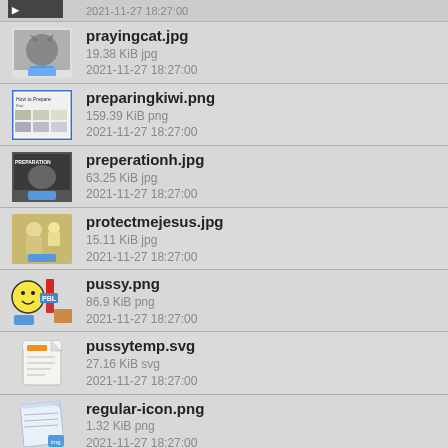prayingcat.jpg
19.38 KiB jpg
2021-11-27 18:27:00
preparingkiwi.png
159.39 KiB png
2021-11-27 18:27:00
preperationh.jpg
63.25 KiB jpg
2021-11-27 18:27:00
protectmejesus.jpg
15.11 KiB jpg
2021-11-27 18:27:00
pussy.png
86.9 KiB png
2021-11-27 18:27:00
pussytemp.svg
27.16 KiB svg
2021-11-27 18:27:00
regular-icon.png
1.32 KiB png
2021-11-27 18:27:00
resurection.png